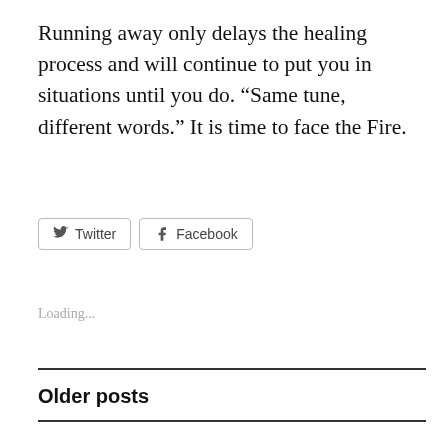Running away only delays the healing process and will continue to put you in situations until you do. “Same tune, different words.” It is time to face the Fire.
[Figure (other): Social share buttons for Twitter and Facebook]
Loading...
Older posts